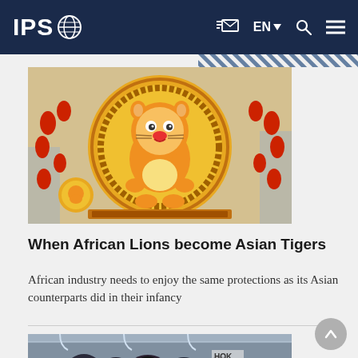IPS — EN | Navigation bar with logo, email/newsletter icon, language selector, search, menu
[Figure (photo): Chinese New Year decoration featuring a large cartoon tiger/lion character on a golden coin-like medallion, surrounded by red lanterns and festive decorations in an outdoor public space.]
When African Lions become Asian Tigers
African industry needs to enjoy the same protections as its Asian counterparts did in their infancy
[Figure (photo): A crowd of people at what appears to be an indoor market or transit hub; people wearing caps and yellow vests visible in the foreground.]